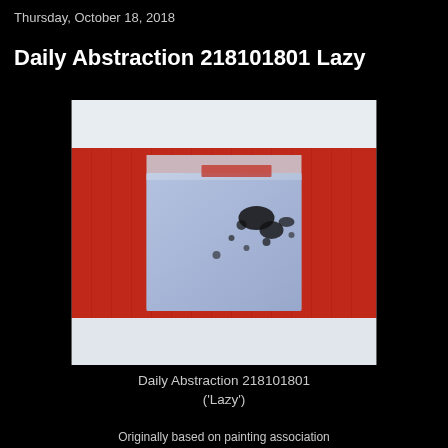Thursday, October 18, 2018
Daily Abstraction 218101801 Lazy
[Figure (photo): Abstract painting with red horizontal band across the middle, white areas at top and bottom, and a blue-lavender painted square in the center with black splatters and marks.]
Daily Abstraction 218101801 ('Lazy')
Originally based on painting association